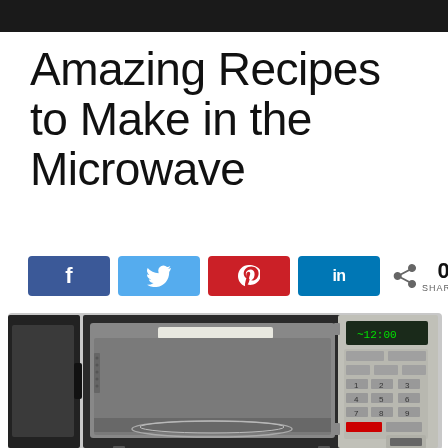Amazing Recipes to Make in the Microwave
[Figure (infographic): Social sharing buttons: Facebook (f), Twitter (bird), Pinterest (p), LinkedIn (in), share icon with 0 SHARES count]
[Figure (photo): An open stainless steel microwave oven with the door open, showing the interior cavity with glass turntable, and the control panel on the right side with keypad and digital display]